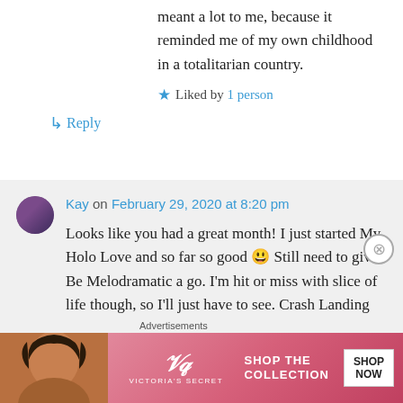meant a lot to me, because it reminded me of my own childhood in a totalitarian country.
★ Liked by 1 person
↳ Reply
Kay on February 29, 2020 at 8:20 pm
Looks like you had a great month! I just started My Holo Love and so far so good 🙂 Still need to give Be Melodramatic a go. I'm hit or miss with slice of life though, so I'll just have to see. Crash Landing was a
Advertisements
[Figure (other): Victoria's Secret advertisement banner with pink background, model, VS logo, and 'SHOP THE COLLECTION / SHOP NOW' text]